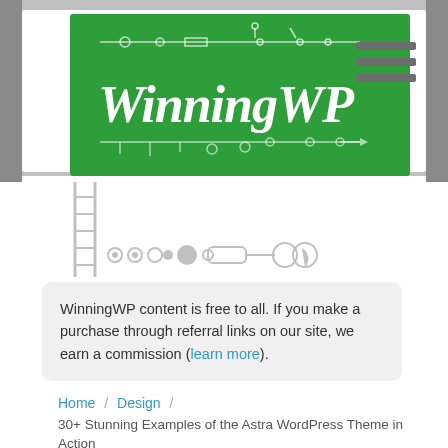WinningWP
WinningWP content is free to all. If you make a purchase through referral links on our site, we earn a commission (learn more).
Home / Design / 30+ Stunning Examples of the Astra WordPress Theme in Action
Tags – Astra, examples, showcase
30+ Stunning Examples of the Astra